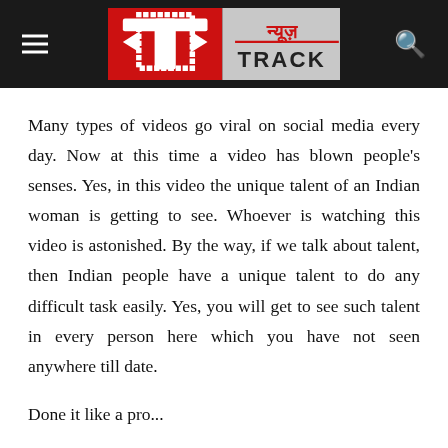[Figure (logo): News Track logo — red and silver box with stylized 'T' monogram and Hindi text न्यूज़ TRACK on dark background header]
Many types of videos go viral on social media every day. Now at this time a video has blown people's senses. Yes, in this video the unique talent of an Indian woman is getting to see. Whoever is watching this video is astonished. By the way, if we talk about talent, then Indian people have a unique talent to do any difficult task easily. Yes, you will get to see such talent in every person here which you have not seen anywhere till date.
Done it like a pro...